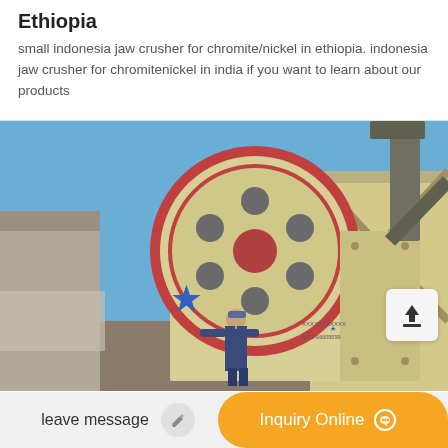Ethiopia
small indonesia jaw crusher for chromite/nickel in ethiopia. indonesia jaw crusher for chromitenickel in india if you want to learn about our products
[Figure (photo): A large industrial jaw crusher machine (cream/beige colored with a large flywheel) outdoors, with a worker standing beside it. A blue star logo and Chinese text/phone number visible on the machine body. Blue sky in background.]
leave message
Inquiry Online